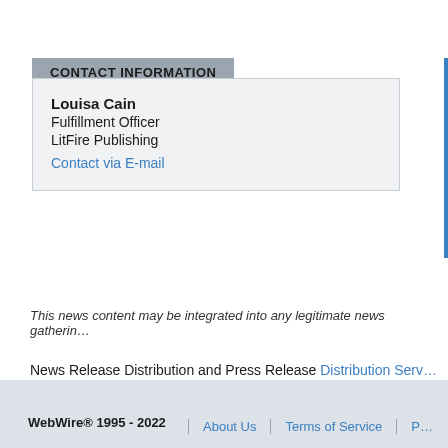CONTACT INFORMATION
Louisa Cain
Fulfillment Officer
LitFire Publishing
Contact via E-mail
This news content may be integrated into any legitimate news gatherin…
News Release Distribution and Press Release Distribution Serv…
WebWire® 1995 - 2022 | About Us | Terms of Service | P…